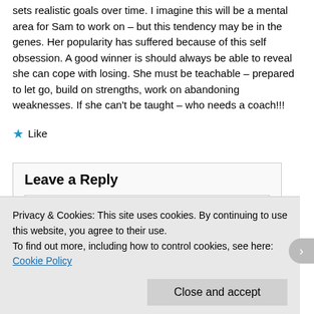sets realistic goals over time. I imagine this will be a mental area for Sam to work on – but this tendency may be in the genes. Her popularity has suffered because of this self obsession. A good winner is should always be able to reveal she can cope with losing. She must be teachable – prepared to let go, build on strengths, work on abandoning weaknesses. If she can't be taught – who needs a coach!!!
★ Like
Leave a Reply
Privacy & Cookies: This site uses cookies. By continuing to use this website, you agree to their use.
To find out more, including how to control cookies, see here: Cookie Policy
Close and accept